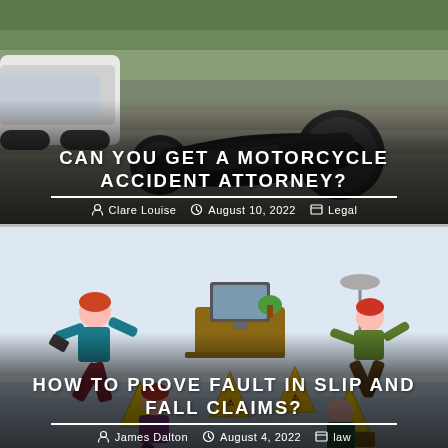[Figure (photo): Motorcycle accident scene with a motorcycle knocked over on the road next to a white car, with a dark overlay at the bottom containing the article title and metadata.]
CAN YOU GET A MOTORCYCLE ACCIDENT ATTORNEY?
Clare Louise  August 10, 2022  Legal
[Figure (illustration): Cartoon illustration of multiple people slipping and falling near yellow wet floor caution signs in an office/indoor setting, with a dark overlay at the bottom containing the article title and metadata.]
HOW TO PROVE FAULT IN SLIP AND FALL CLAIMS?
James Dalton  August 4, 2022  law